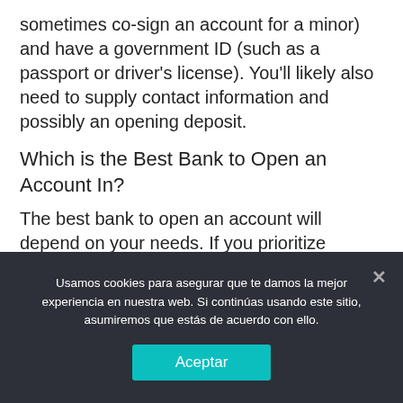sometimes co-sign an account for a minor) and have a government ID (such as a passport or driver's license). You'll likely also need to supply contact information and possibly an opening deposit.
Which is the Best Bank to Open an Account In?
The best bank to open an account will depend on your needs. If you prioritize banking at a physical institution with plenty of locations where you can interact with staff in person, you might choose to go with a big-name chain. If you prefer a bank where you might qualify for higher interest rates in lieu of
Usamos cookies para asegurar que te damos la mejor experiencia en nuestra web. Si continúas usando este sitio, asumiremos que estás de acuerdo con ello.